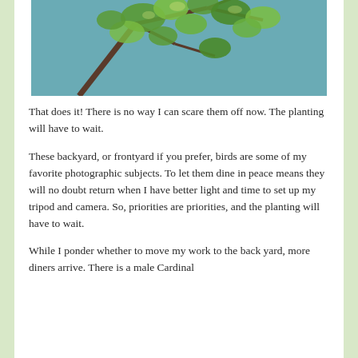[Figure (photo): Close-up photo of green leaves on tree branches against a teal/blue-green background]
That does it! There is no way I can scare them off now. The planting will have to wait.
These backyard, or frontyard if you prefer, birds are some of my favorite photographic subjects. To let them dine in peace means they will no doubt return when I have better light and time to set up my tripod and camera. So, priorities are priorities, and the planting will have to wait.
While I ponder whether to move my work to the back yard, more diners arrive. There is a male Cardinal